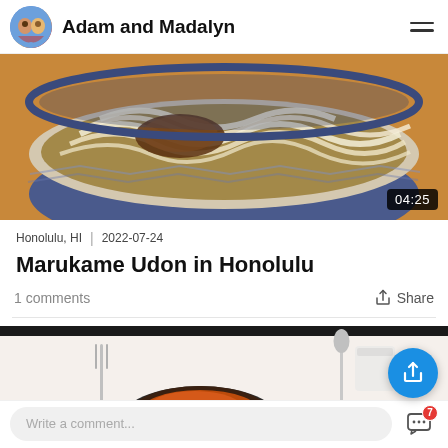Adam and Madalyn
[Figure (photo): Close-up photo of a bowl of udon noodles with a video duration badge showing 04:25]
Honolulu, HI | 2022-07-24
Marukame Udon in Honolulu
1 comments   Share
[Figure (photo): Photo of food in a dark bowl on a white surface with fork and spoon visible]